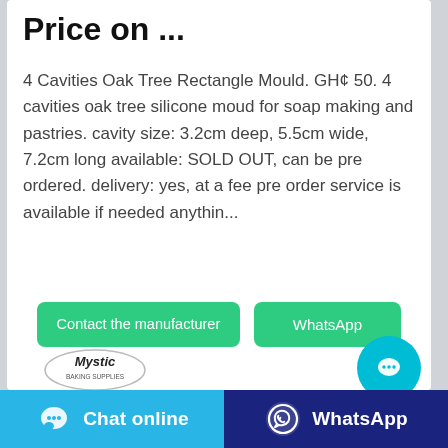Price on ...
4 Cavities Oak Tree Rectangle Mould. GH¢ 50. 4 cavities oak tree silicone moud for soap making and pastries. cavity size: 3.2cm deep, 5.5cm wide, 7.2cm long available: SOLD OUT, can be pre ordered. delivery: yes, at a fee pre order service is available if needed anythin...
[Figure (other): Contact the manufacturer button and WhatsApp button (green), Mystic logo oval, cyan chat bubble floating button]
[Figure (other): Bottom bar with Chat online (cyan) and WhatsApp (dark blue) buttons]